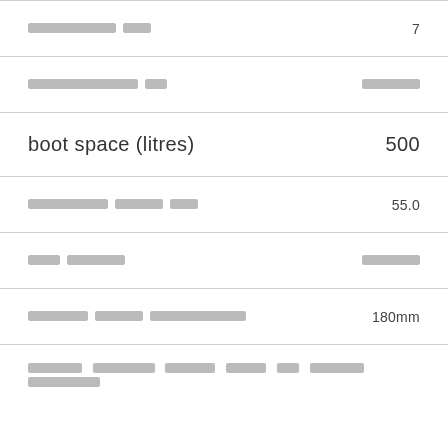| [redacted text] | 7 |
| [redacted text] | [redacted text] |
| boot space (litres) | 500 |
| [redacted text] | 55.0 |
| [redacted text] | [redacted text] |
| [redacted text] | 180mm |
| [redacted text full row] |  |